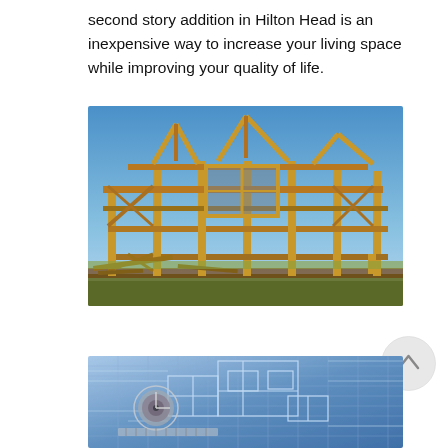second story addition in Hilton Head is an inexpensive way to increase your living space while improving your quality of life.
[Figure (photo): A two-story house under construction showing wooden framing and structural skeleton against a clear blue sky.]
[Figure (photo): Architectural blueprints laid flat with a compass/drafting tool on top, showing technical construction drawings in blue tones.]